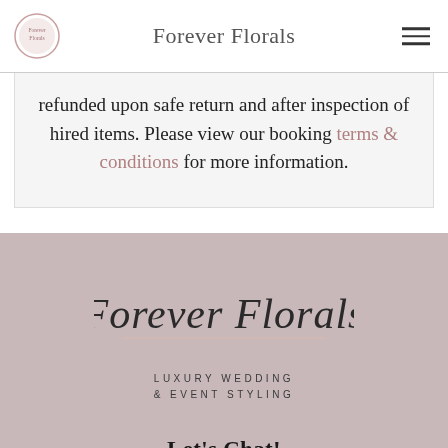Forever Florals
refunded upon safe return and after inspection of hired items. Please view our booking terms & conditions for more information.
[Figure (logo): Forever Florals script logo with 'LUXURY WEDDING & EVENT STYLING' subtitle on dusty rose background]
Let's Chat!